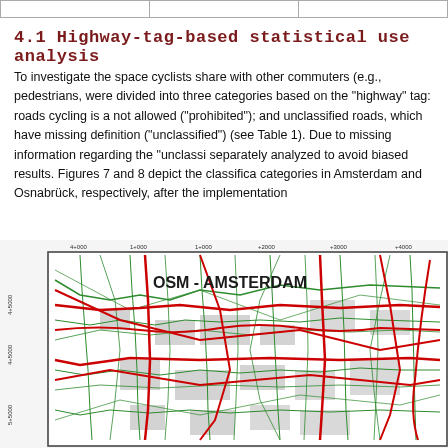|  |  |  |
| --- | --- | --- |
|   |   |   |
4.1 Highway-tag-based statistical use analysis
To investigate the space cyclists share with other commuters (e.g., pedestrians, were divided into three categories based on the "highway" tag: roads cycling is a not allowed ("prohibited"); and unclassified roads, which have missing definition ("unclassified") (see Table 1). Due to missing information regarding the "unclassi separately analyzed to avoid biased results. Figures 7 and 8 depict the classifica categories in Amsterdam and Osnabrück, respectively, after the implementation
[Figure (map): OSM map of Amsterdam showing road classification by cycling category. Green roads indicate cycling-allowed roads, red roads indicate prohibited roads, gray areas indicate unclassified or built-up areas. Map titled 'OSM - AMSTERDAM' with coordinate grid.]